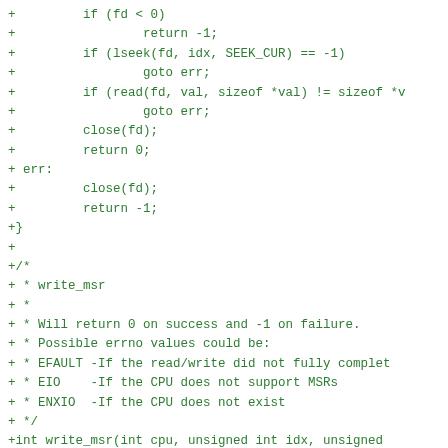+         if (fd < 0)
+                 return -1;
+         if (lseek(fd, idx, SEEK_CUR) == -1)
+                 goto err;
+         if (read(fd, val, sizeof *val) != sizeof *v
+                 goto err;
+         close(fd);
+         return 0;
+ err:
+         close(fd);
+         return -1;
+}
+
+/*
+ * write_msr
+ *
+ * Will return 0 on success and -1 on failure.
+ * Possible errno values could be:
+ * EFAULT -If the read/write did not fully complet
+ * EIO    -If the CPU does not support MSRs
+ * ENXIO  -If the CPU does not exist
+ */
+int write_msr(int cpu, unsigned int idx, unsigned
+{
+         int fd;
+         char msr_file_name[64];
+